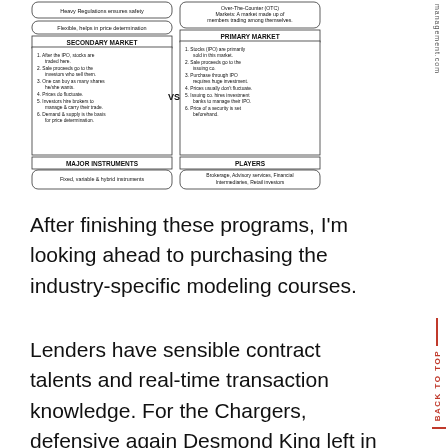[Figure (infographic): Diagram comparing Secondary Market vs Primary Market with sections for Major Instruments and Players. Secondary Market lists: After the IPO, stocks are traded here; Sale proceeds go to the investors who sell them; One can buy as many shares he/she wants; Prices do fluctuate; Investors hire brokers to manage & carry their trade; Demand & supply is the basis for price determination. Primary Market lists: Stocks (IPO) are primarily sold in this market; Sale proceeds go to the issuing co.; Purchase through IPO requires huge investment; Prices usually don't fluctuate; Issuing co. hires investment banks to manage their IPO; Price of a security is set beforehand. Top labels include Heavy Regulations ensures safety, Flexible, helps in price determination, Over-The-Counter (OTC) Markets. Major Instruments: Fixed, variable & hybrid instruments. Players: Brokerage, Advisory services, Financial Intermediaries, Retail investors.]
After finishing these programs, I'm looking ahead to purchasing the industry-specific modeling courses.
Lenders have sensible contract talents and real-time transaction knowledge. For the Chargers, defensive again Desmond King left in the first half with an ankle injury.